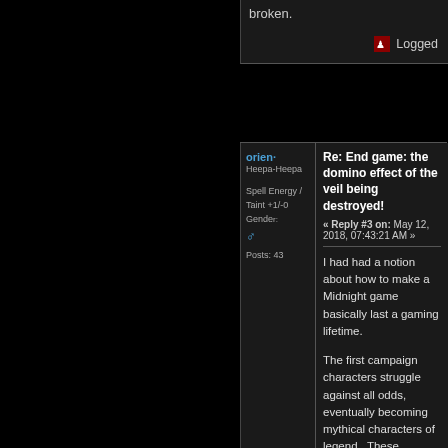broken.
Logged
orien·
Heepa-Heepa
Re: End game: the domino effect of the veil being destroyed!
« Reply #3 on: May 12, 2018, 07:43:21 AM »
Spell Energy / Taint +1/-0
Gender:
Posts: 43
I had had a notion about how to make a Midnight game basically last a gaming lifetime.
The first campaign characters struggle against all odds, eventually becoming mythical characters of legend.  These characters, after falling to glorious deaths, become the foundation of a new pantheon that will eventually overtake the Shai...